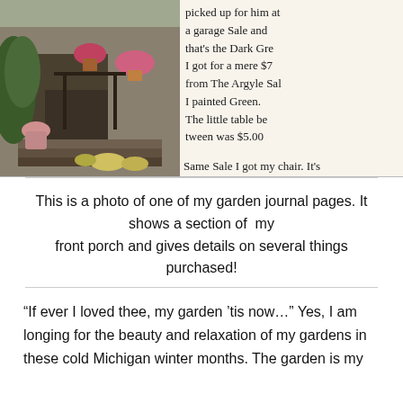[Figure (photo): A journal page showing a photo of a garden front porch on the left side, and handwritten notes on the right side describing items picked up at a garage sale including the Dark Green item for $7 from The Argyle Sale and a little table between for $5.00, and text at the bottom reading 'Same Sale I got my chair. It's']
This is a photo of one of my garden journal pages. It shows a section of  my front porch and gives details on several things purchased!
“If ever I loved thee, my garden ’tis now…” Yes, I am longing for the beauty and relaxation of my gardens in these cold Michigan winter months. The garden is my